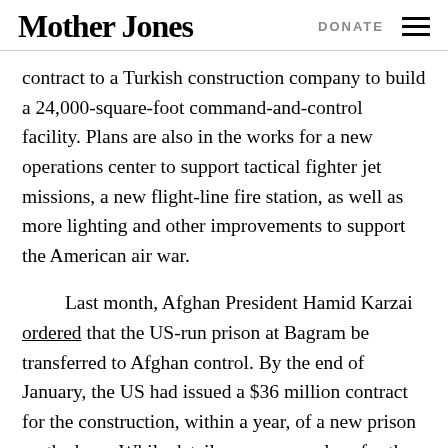Mother Jones   DONATE
contract to a Turkish construction company to build a 24,000-square-foot command-and-control facility. Plans are also in the works for a new operations center to support tactical fighter jet missions, a new flight-line fire station, as well as more lighting and other improvements to support the American air war.
Last month, Afghan President Hamid Karzai ordered that the US-run prison at Bagram be transferred to Afghan control. By the end of January, the US had issued a $36 million contract for the construction, within a year, of a new prison on the base. While details are sparse, plans for the